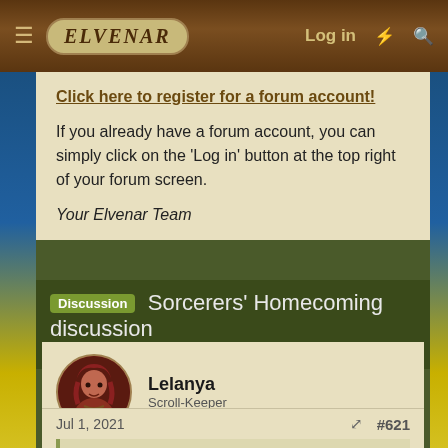ELVENAR — Log in
Click here to register for a forum account!
If you already have a forum account, you can simply click on the 'Log in' button at the top right of your forum screen.
Your Elvenar Team
Discussion  Sorcerers' Homecoming discussion
helya · Jun 3, 2021
Lelanya
Scroll-Keeper
Jul 1, 2021  #621
Iyapo1 said: